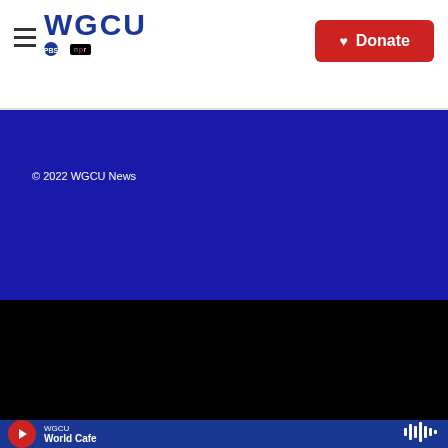[Figure (logo): WGCU PBS NPR logo in blue]
[Figure (logo): Donate button with heart icon, red background]
© 2022 WGCU News
[Figure (logo): NPR logo in white box]
[Figure (logo): BBC logo in white boxes]
[Figure (logo): PRX logo with sound waves]
[Figure (logo): American Public Media logo]
[Figure (logo): PRI logo with globe]
WGCU World Cafe